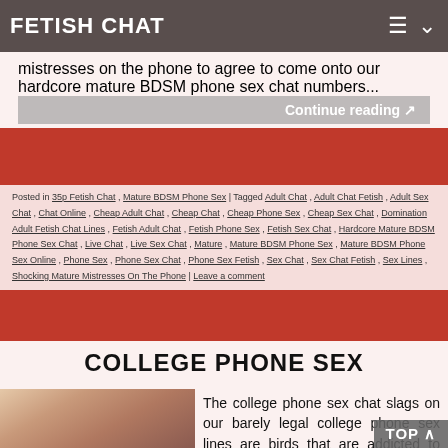FETISH CHAT
mistresses on the phone to agree to come onto our hardcore mature BDSM phone sex chat numbers...
Continue reading
Posted in 35p Fetish Chat , Mature BDSM Phone Sex | Tagged Adult Chat , Adult Chat Fetish , Adult Sex Chat , Chat Online , Cheap Adult Chat , Cheap Chat , Cheap Phone Sex , Cheap Sex Chat , Domination Adult Fetish Chat Lines , Fetish Adult Chat , Fetish Phone Sex , Fetish Sex Chat , Hardcore Mature BDSM Phone Sex Chat , Live Chat , Live Sex Chat , Mature , Mature BDSM Phone Sex , Mature BDSM Phone Sex Online , Phone Sex , Phone Sex Chat , Phone Sex Fetish , Sex Chat , Sex Chat Fetish , Sex Lines , Shocking Mature Mistresses On The Phone | Leave a comment
COLLEGE PHONE SEX
[Figure (photo): Photo of a young blonde woman]
The college phone sex chat slags on our barely legal college phone sex lines are birds that are addicted to dirty phone sex on the phone and